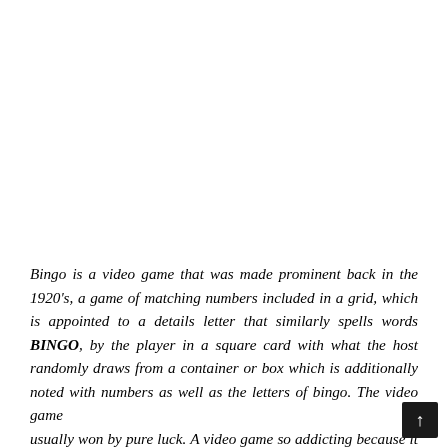Bingo is a video game that was made prominent back in the 1920's, a game of matching numbers included in a grid, which is appointed to a details letter that similarly spells words BINGO, by the player in a square card with what the host randomly draws from a container or box which is additionally noted with numbers as well as the letters of bingo. The video game is usually won by pure luck. A video game so addicting because it does not call for details skills, simply taking a seat and also